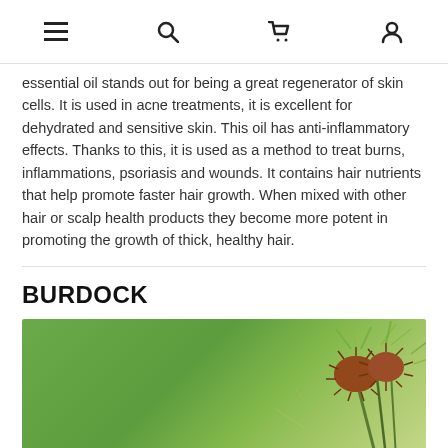navigation icons: menu, search, cart, account
essential oil stands out for being a great regenerator of skin cells. It is used in acne treatments, it is excellent for dehydrated and sensitive skin. This oil has anti-inflammatory effects. Thanks to this, it is used as a method to treat burns, inflammations, psoriasis and wounds. It contains hair nutrients that help promote faster hair growth. When mixed with other hair or scalp health products they become more potent in promoting the growth of thick, healthy hair.
BURDOCK
[Figure (photo): Close-up photograph of a burdock plant with spiky seed heads against a green background]